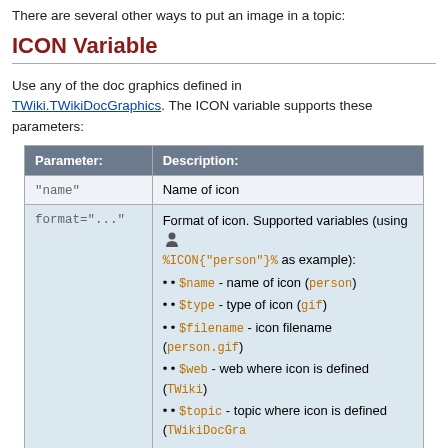There are several other ways to put an image in a topic:
ICON Variable
Use any of the doc graphics defined in TWiki.TWikiDocGraphics. The ICON variable supports these parameters:
| Parameter: | Description: |
| --- | --- |
| "name" | Name of icon |
| format="..." | Format of icon. Supported variables (using %ICON{"person"}% as example):
• $name - name of icon (person)
• $type - type of icon (gif)
• $filename - icon filename (person.gif)
• $web - web where icon is defined (TWiki)
• $topic - topic where icon is defined (TWikiDocGra...
• $description - icon description (Person)
• $width - width of icon (16)
• $height - height of icon (16)
• $img - full img tag of icon (<img src="... />) |